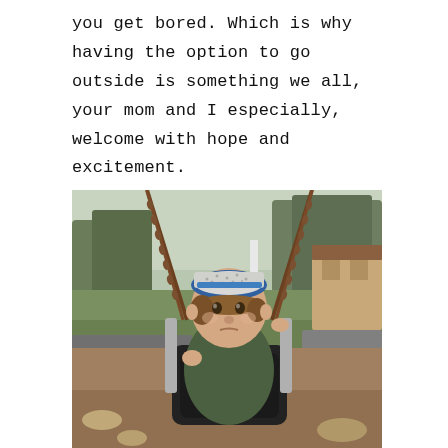you get bored. Which is why having the option to go outside is something we all, your mom and I especially, welcome with hope and excitement.
[Figure (photo): A young toddler sitting in a bucket swing at a playground, wearing a green jacket and a blue and white cap, holding the swing chains. The background shows a park setting with bare trees, a white pole, green grass, and a brick building in the distance.]